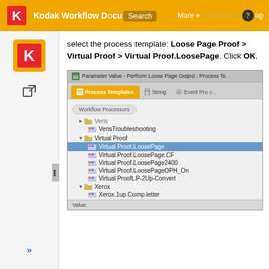Kodak Workflow Director | Search | More | Training C... | log
select the process template: Loose Page Proof > Virtual Proof > Virtual Proof.LoosePage. Click OK.
[Figure (screenshot): Parameter Value dialog showing Process Templates tab with a tree view. Under Virtual Proof folder, Virtual Proof.LoosePage is highlighted/selected. Other items visible: Veris (collapsed), VerisTroubleshooting, Virtual Proof.LoosePage.CF, Virtual Proof.LoosePage2400, Virtual Proof.LoosePageOPH_On, Virtual Proof.LP-2Up-Convert, Xerox folder with Xerox.1up.Comp.letter. Tabs shown: Process Templates, String, Event Prop...]